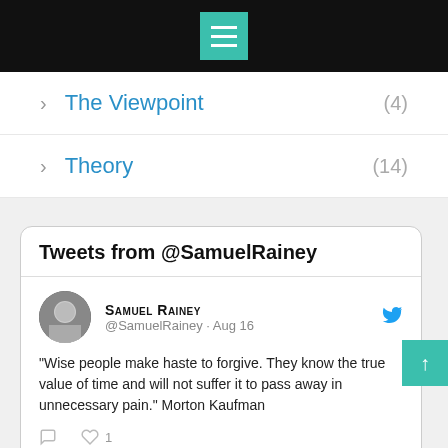[Figure (screenshot): Black top navigation bar with teal/green hamburger menu icon]
The Viewpoint (4)
Theory (14)
Tweets from @SamuelRainey
SAMUEL RAINEY @SamuelRainey · Aug 16 "Wise people make haste to forgive. They know the true value of time and will not suffer it to pass away in unnecessary pain." Morton Kaufman
SAMUEL RAINEY